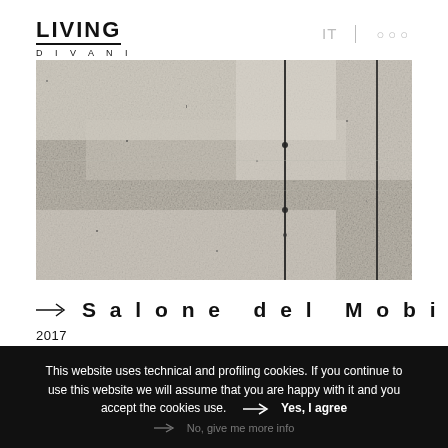[Figure (logo): Living Divani logo with bold LIVING text and underline, DIVANI in spaced letters below]
[Figure (photo): Grayscale textured photograph showing a stone or concrete wall surface with vertical dark lines/seams]
Salone del Mobile / MDW 2017
2017
This website uses technical and profiling cookies. If you continue to use this website we will assume that you are happy with it and you accept the cookies use.    →    Yes, I agree
→    No, give me more info